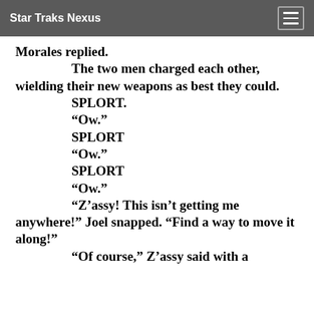Star Traks Nexus
Morales replied.
	The two men charged each other, wielding their new weapons as best they could.
	SPLORT.
	"Ow."
	SPLORT
	"Ow."
	SPLORT
	"Ow."
	"Z’assy! This isn’t getting me anywhere!" Joel snapped. “Find a way to move it along!"
	"Of course," Z’assy said with a